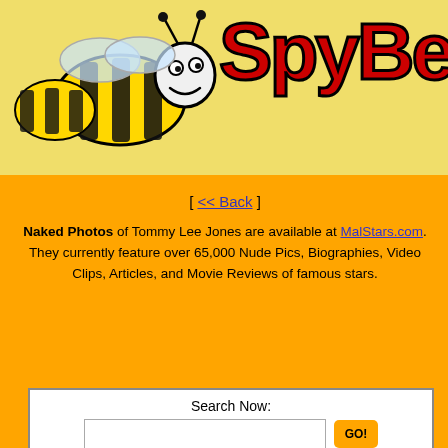[Figure (logo): SpyBee website header banner with cartoon bee illustration and 'SpyBe' red logo text on yellow background]
[ << Back ]
Naked Photos of Tommy Lee Jones are available at MalStars.com. They currently feature over 65,000 Nude Pics, Biographies, Video Clips, Articles, and Movie Reviews of famous stars.
[Figure (screenshot): Amazon.com search widget with search input box and GO button on orange/black background]
[Figure (photo): Headshot photo of Tommy Lee Jones]
Tommy
Birthday: 1
Below is a c... (in) for Tomm... additions, ph... also be inter...
Biography
Born in San Saba, Texas, USA. Son... underwater construction and on an o... prestigious prep school for boys in D... another scholarship. Roomed with fu... guard in the famous 29-29 Harvard-Y... B.A. in English literature and...